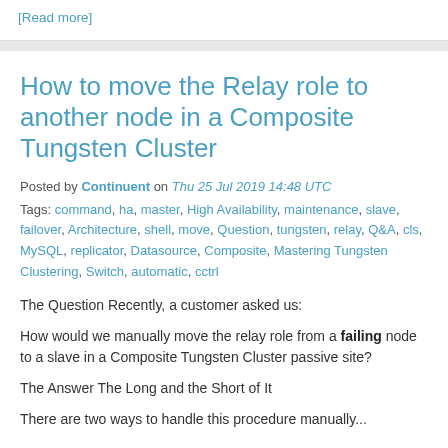[Read more]
How to move the Relay role to another node in a Composite Tungsten Cluster
Posted by Continuent on Thu 25 Jul 2019 14:48 UTC
Tags: command, ha, master, High Availability, maintenance, slave, failover, Architecture, shell, move, Question, tungsten, relay, Q&A, cls, MySQL, replicator, Datasource, Composite, Mastering Tungsten Clustering, Switch, automatic, cctrl
The Question Recently, a customer asked us:
How would we manually move the relay role from a failing node to a slave in a Composite Tungsten Cluster passive site?
The Answer The Long and the Short of It
There are two ways to handle this procedure manually...